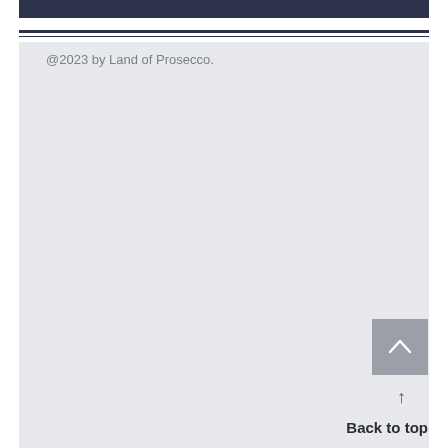@2023 by Land of Prosecco.
Back to top